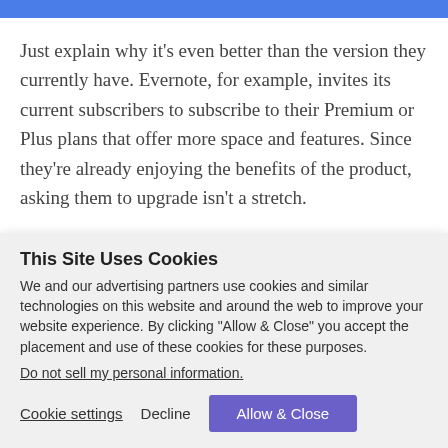you don't need to hard-sell the upgrade.
Just explain why it's even better than the version they currently have. Evernote, for example, invites its current subscribers to subscribe to their Premium or Plus plans that offer more space and features. Since they're already enjoying the benefits of the product, asking them to upgrade isn't a stretch.
This Site Uses Cookies
We and our advertising partners use cookies and similar technologies on this website and around the web to improve your website experience. By clicking "Allow & Close" you accept the placement and use of these cookies for these purposes.
Do not sell my personal information.
Cookie settings   Decline   Allow & Close